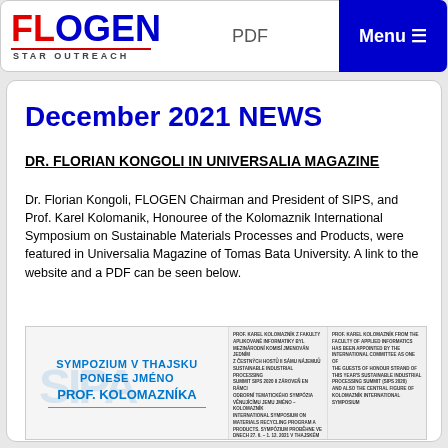FLOGEN STAR OUTREACH | PDF | Menu
December 2021 NEWS
DR. FLORIAN KONGOLI IN UNIVERSALIA MAGAZINE
Dr. Florian Kongoli, FLOGEN Chairman and President of SIPS, and Prof. Karel Kolomanik, Honouree of the Kolomaznik International Symposium on Sustainable Materials Processes and Products, were featured in Universalia Magazine of Tomas Bata University. A link to the website and a PDF can be seen below.
[Figure (screenshot): Screenshot of Universalia Magazine page featuring 'SYMPOZIUM V THAJSKU PONESE JMÉNO PROF. KOLOMAZNÍKA' with text columns about Prof. Karel Kolomaznik and his appointment.]